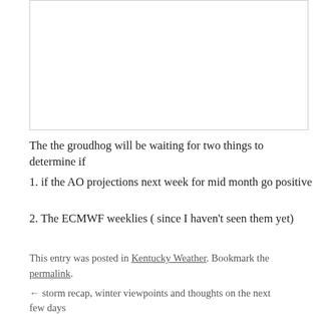[Figure (other): White rectangular image placeholder with light gray border]
The the groudhog will be waiting for two things to determine if
1. if the AO projections next week for mid month go positive
2. The ECMWF weeklies ( since I haven’t seen them yet)
This entry was posted in Kentucky Weather. Bookmark the permalink.
← storm recap, winter viewpoints and thoughts on the next few days